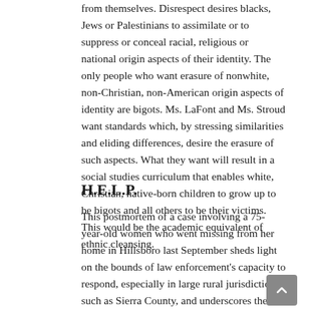from themselves. Disrespect desires blacks, Jews or Palestinians to assimilate or to suppress or conceal racial, religious or national origin aspects of their identity. The only people who want erasure of nonwhite, non-Christian, non-American origin aspects of identity are bigots. Ms. LaFont and Ms. Stroud want standards which, by stressing similarities and eliding differences, desire the erasure of such aspects. What they want will result in a social studies curriculum that enables white, Christian, native-born children to grow up to be bigots and all others to be their victims. This would be the academic equivalent of ethnic cleansing.
H.E.L.P.
This postmortem of a case involving a 75-year-old women who went missing from her home in Hillsboro last September sheds light on the bounds of law enforcement's capacity to respond, especially in large rural jurisdictions such as Sierra County, and underscores the critical role the public, as well as concerned family and